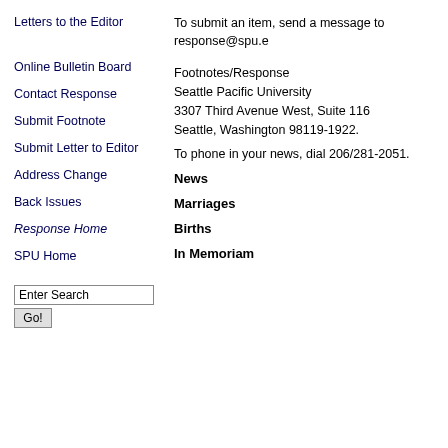Letters to the Editor
To submit an item, send a message to response@spu.e
Footnotes/Response
Seattle Pacific University
3307 Third Avenue West, Suite 116
Seattle, Washington 98119-1922.
Online Bulletin Board
To phone in your news, dial 206/281-2051.
Contact Response
Submit Footnote
Submit Letter to Editor
Address Change
Back Issues
Response Home
SPU Home
News
Marriages
Births
In Memoriam